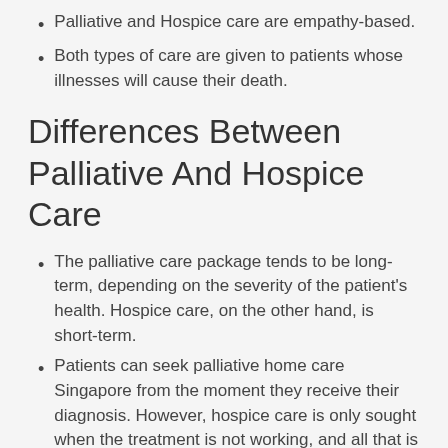Palliative and Hospice care are empathy-based.
Both types of care are given to patients whose illnesses will cause their death.
Differences Between Palliative And Hospice Care
The palliative care package tends to be long-term, depending on the severity of the patient's health. Hospice care, on the other hand, is short-term.
Patients can seek palliative home care Singapore from the moment they receive their diagnosis. However, hospice care is only sought when the treatment is not working, and all that is left is to help the patient with pain relief and comfort until